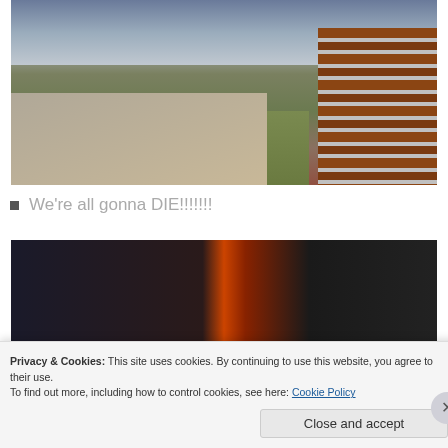[Figure (photo): Outdoor street scene showing a residential neighborhood with cars parked along the street, grass lawns, trees, a sidewalk, and a brick pillar on the right side. Overcast sky in the background.]
We're all gonna DIE!!!!!!!
[Figure (photo): Dark indoor photo showing a dimly lit room with an orange/red light source visible in the center.]
Privacy & Cookies: This site uses cookies. By continuing to use this website, you agree to their use.
To find out more, including how to control cookies, see here: Cookie Policy